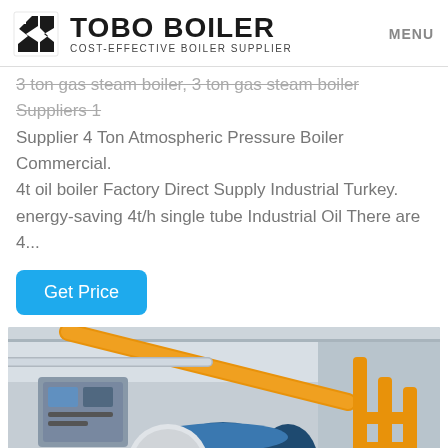TOBO BOILER — COST-EFFECTIVE BOILER SUPPLIER | MENU
3 ton gas steam boiler, 3 ton gas steam boiler Suppliers 1 Supplier 4 Ton Atmospheric Pressure Boiler Commercial. 4t oil boiler Factory Direct Supply Industrial Turkey. energy-saving 4t/h single tube Industrial Oil There are 4...
Get Price
[Figure (photo): Industrial boiler room with a large cylindrical horizontal boiler, yellow gas pipes, and industrial equipment. A green WhatsApp badge is overlaid in the bottom-left corner.]